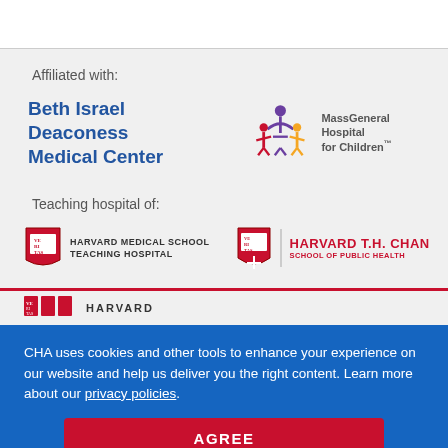Affiliated with:
[Figure (logo): Beth Israel Deaconess Medical Center logo — bold blue text]
[Figure (logo): MassGeneral Hospital for Children logo — colorful figures with text]
Teaching hospital of:
[Figure (logo): Harvard Medical School Teaching Hospital logo — crimson shield with text]
[Figure (logo): Harvard T.H. Chan School of Public Health logo — crimson shield with red text]
[Figure (logo): Harvard logo partial at bottom]
CHA uses cookies and other tools to enhance your experience on our website and help us deliver you the right content. Learn more about our privacy policies.
AGREE